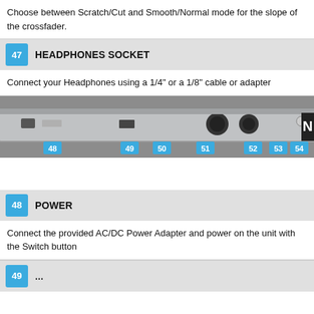Choose between Scratch/Cut and Smooth/Normal mode for the slope of the crossfader.
47  HEADPHONES SOCKET
Connect your Headphones using a 1/4" or a 1/8" cable or adapter
[Figure (photo): Rear panel of audio mixer showing connectors labeled 48, 49, 50, 51, 52, 53, 54 including power, USB, XLR, and RCA inputs/outputs]
48  POWER
Connect the provided AC/DC Power Adapter and power on the unit with the Switch button
49  ...